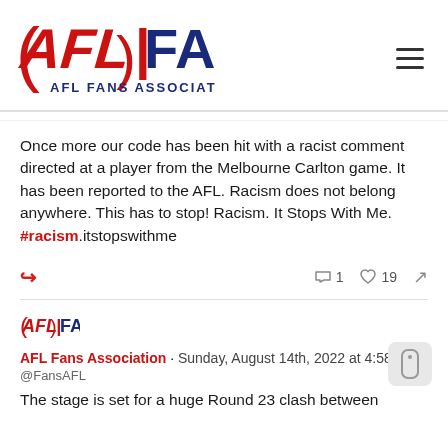[Figure (logo): AFL Fans Association logo — red AFl text and dark blue FA text with AFL Fans Association subtitle]
Once more our code has been hit with a racist comment directed at a player from the Melbourne Carlton game. It has been reported to the AFL. Racism does not belong anywhere. This has to stop! Racism. It Stops With Me. #racism.itstopswithme
AFL Fans Association · Sunday, August 14th, 2022 at 4:58am
@FansAFL
The stage is set for a huge Round 23 clash between